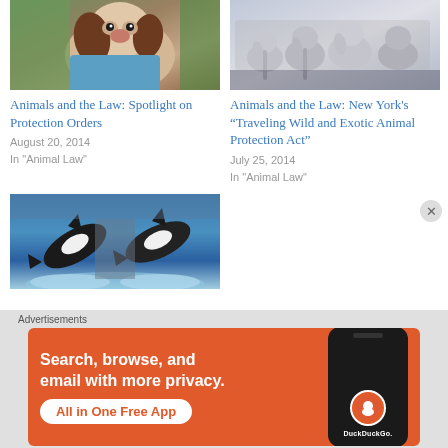[Figure (photo): Person holding a brown and white springer spaniel puppy]
[Figure (photo): Several decorative ceramic elephant figurines on a surface]
Animals and the Law: Spotlight on Protection Orders
August 20, 2014
In "Animal Law"
Animals and the Law: New York’s “Traveling Wild and Exotic Animal Protection Act”
July 25, 2014
In "Animal Law"
[Figure (photo): Two orca whales jumping out of water at a marine park show]
Advertisements
[Figure (screenshot): DuckDuckGo advertisement banner: Search, browse, and email with more privacy. All in One Free App. Shows DuckDuckGo app on phone.]